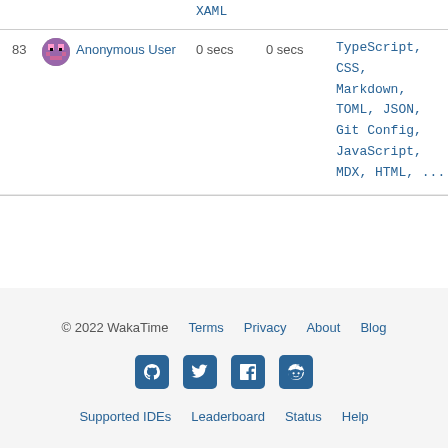XAML
| # | User | Time (today) | Time (week) | Languages |  |
| --- | --- | --- | --- | --- | --- |
| 83 | Anonymous User | 0 secs | 0 secs | TypeScript, CSS, Markdown, TOML, JSON, Git Config, JavaScript, MDX, HTML, ... | hire |
© 2022 WakaTime  Terms  Privacy  About  Blog  Supported IDEs  Leaderboard  Status  Help